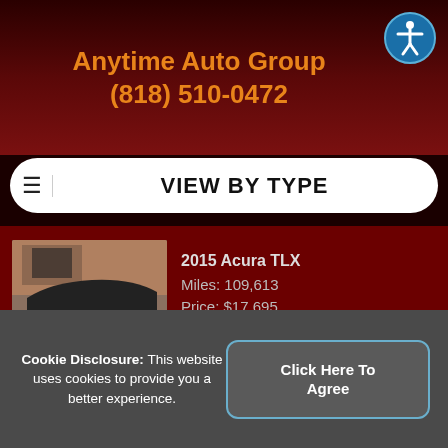Anytime Auto Group
(818) 510-0472
VIEW BY TYPE
2015 Acura TLX
Miles: 109,613
Price: $17,695
2018 Alfa Romeo Stelvio
Miles: 43,584
Price: $28,895
2011 Audi A3
Cookie Disclosure: This website uses cookies to provide you a better experience.
Click Here To Agree